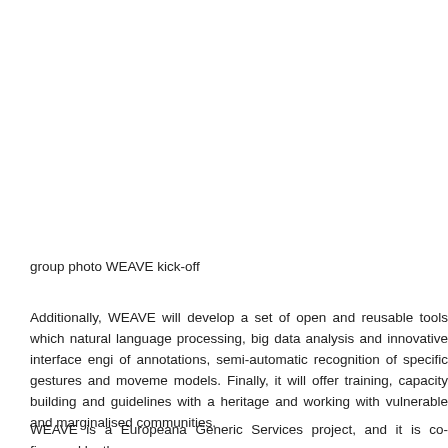group photo WEAVE kick-off
Additionally, WEAVE will develop a set of open and reusable tools which natural language processing, big data analysis and innovative interface engi of annotations, semi-automatic recognition of specific gestures and moveme models. Finally, it will offer training, capacity building and guidelines with a heritage and working with vulnerable and marginalised communities.
WEAVE is a Europeana Generic Services project, and it is co-financed by th